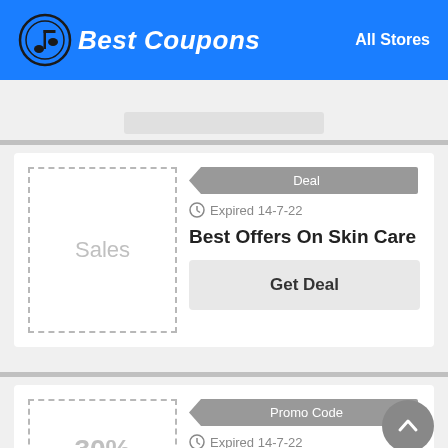Best Coupons — All Stores
[Figure (screenshot): Gray placeholder rectangle with a centered search button stub above a gray divider line]
Deal
Expired 14-7-22
Best Offers On Skin Care
Get Deal
Promo Code
Expired 14-7-22
30% Off Storewide + Extra 40% Off Gift Sets